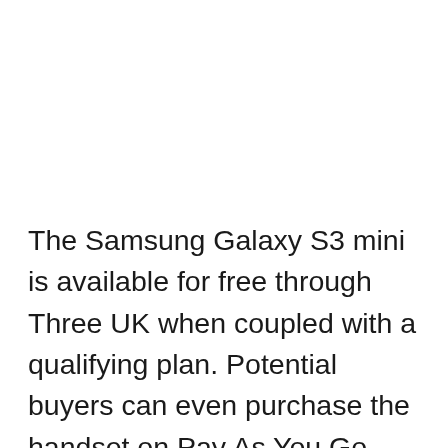The Samsung Galaxy S3 mini is available for free through Three UK when coupled with a qualifying plan. Potential buyers can even purchase the handset on Pay As You Go basis for £269.99 plus a top up. The device can be picked up via the carrier's retail stores and it's expected to be in stock online from November 16